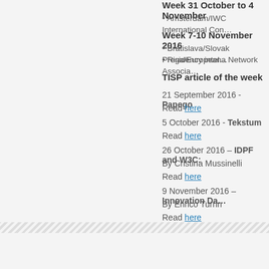Week 31 October to 4 November
• Amsterdam/IWC International Con…
Week 7-10 November 2016
• Bratislava/Slovak Presidency intel…
• Riga/Europeana Network Associa…
TISP article of the week
21 September 2016 - Papego
Read here
5 October 2016 - Tekstum
Read here
26 October 2016 – IDPF and W3C:
By Cristina Mussinelli
Read here
9 November 2016 – Innovation Da…
By Enrico Turrin
Read here